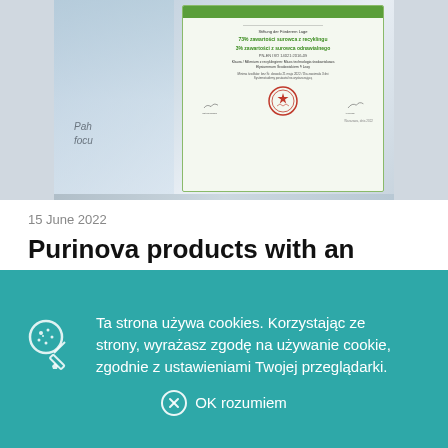[Figure (photo): Photo of a framed ISO/EKO certificate with green header and official stamps/signatures, alongside laboratory glassware in background]
15 June 2022
Purinova products with an EKO-ITB declaration!
Two products from our New Technology
Ta strona używa cookies. Korzystając ze strony, wyrażasz zgodę na używanie cookie, zgodnie z ustawieniami Twojej przeglądarki.
OK rozumiem